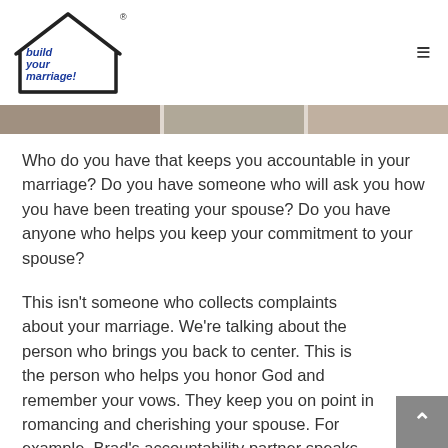build your marriage!
[Figure (photo): Photo strip of couples or people, partially visible at the top of the page]
Who do you have that keeps you accountable in your marriage? Do you have someone who will ask you how you have been treating your spouse? Do you have anyone who helps you keep your commitment to your spouse?
This isn't someone who collects complaints about your marriage. We're talking about the person who brings you back to center. This is the person who helps you honor God and remember your vows. They keep you on point in romancing and cherishing your spouse. For example, Brad's accountability partner speaks with him every week. He asks hard questions.